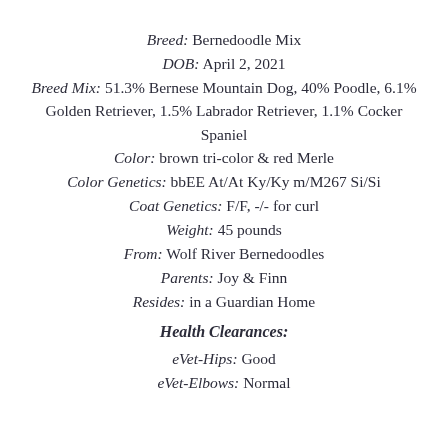Breed: Bernedoodle Mix
DOB: April 2, 2021
Breed Mix: 51.3% Bernese Mountain Dog, 40% Poodle, 6.1% Golden Retriever, 1.5% Labrador Retriever, 1.1% Cocker Spaniel
Color: brown tri-color & red Merle
Color Genetics: bbEE At/At Ky/Ky m/M267 Si/Si
Coat Genetics: F/F, -/- for curl
Weight: 45 pounds
From: Wolf River Bernedoodles
Parents: Joy & Finn
Resides: in a Guardian Home
Health Clearances:
eVet-Hips: Good
eVet-Elbows: Normal